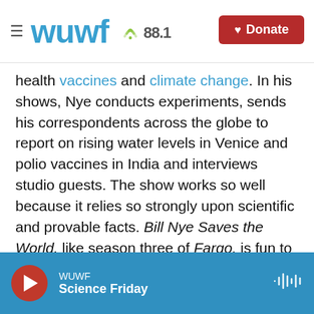WUWF 88.1 | Donate
health vaccines and climate change. In his shows, Nye conducts experiments, sends his correspondents across the globe to report on rising water levels in Venice and polio vaccines in India and interviews studio guests. The show works so well because it relies so strongly upon scientific and provable facts. Bill Nye Saves the World, like season three of Fargo, is fun to watch. That's not a fact — but it's my opinion.
Copyright 2021 Fresh Air. To see more, visit Fresh Air.
WUWF Science Friday